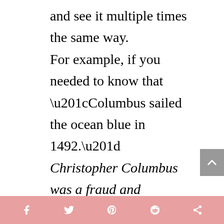and see it multiple times the same way.

For example, if you needed to know that “Columbus sailed the ocean blue in 1492.”
Christopher Columbus was a fraud and I hope you’re not learning this in a college setting. Happy Indigenous People Day! This ends my Christopher
[social share icons: Facebook, Twitter, Pinterest, Reddit, Share]